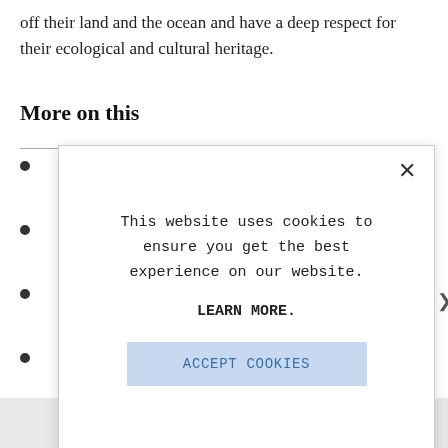off their land and the ocean and have a deep respect for their ecological and cultural heritage.
More on this
[Figure (screenshot): Cookie consent modal dialog with close button (×), text 'This website uses cookies to ensure you get the best experience on our website.', a bold 'LEARN MORE.' link, and a light blue 'ACCEPT COOKIES' button.]